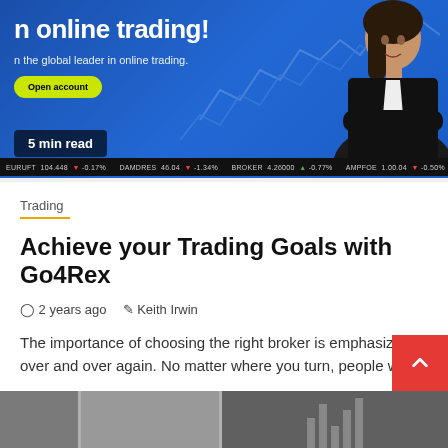[Figure (screenshot): Hero banner for an online trading website (Go4Rex) with blue background, woman in black jacket, yellow 'Open account' button, and a ticker bar at the bottom. Text reads 'n online trading!' and 'n the global leader in online trading.']
5 min read
Trading
Achieve your Trading Goals with Go4Rex
⏱ 2 years ago   ✎ Keith Irwin
The importance of choosing the right broker is emphasized over and over again. No matter where you turn, people will...
[Figure (photo): Bottom strip showing partial images of articles (three image thumbnails partially visible)]